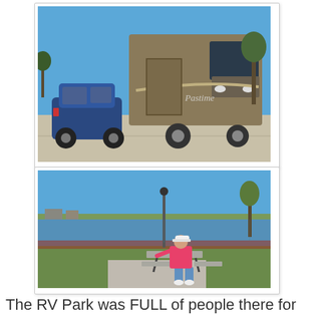[Figure (photo): A large motorhome (RV) parked at an RV park site with a blue SUV parked in front of it on a concrete pad, blue sky background.]
[Figure (photo): A person in a pink shirt and white cap sitting at a picnic table at an RV park, with a lake and trees visible in the background under a clear blue sky.]
The RV Park was FULL of people there for